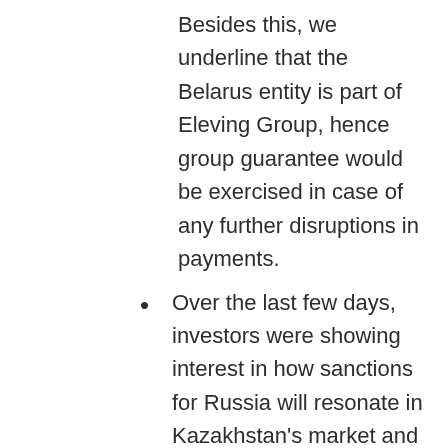Besides this, we underline that the Belarus entity is part of Eleving Group, hence group guarantee would be exercised in case of any further disruptions in payments.
Over the last few days, investors were showing interest in how sanctions for Russia will resonate in Kazakhstan's market and how they impact KZT, which in some cases might be related to RUB. We saw this implication recently with one of the investors' funds holding servicer banks who held KZT with the correspondent bank in Russia (read more in the updates below). On 15 March, IDF Eurasia held a webinar for investors and